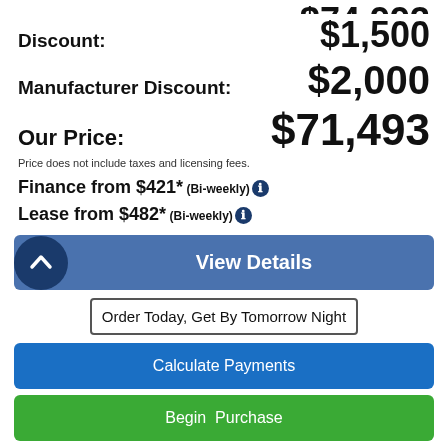Discount: $1,500
Manufacturer Discount: $2,000
Our Price: $71,493
Price does not include taxes and licensing fees.
Finance from $421* (Bi-weekly)
Lease from $482* (Bi-weekly)
View Details
Order Today, Get By Tomorrow Night
Calculate Payments
Begin Purchase
|  |  |
| --- | --- |
| Body Style: | SUV |
| Engine: | 5.7L 8Cyl |
| Exterior Colour: | White |
| VIN: | 1C4SDJCT0NC135753 |